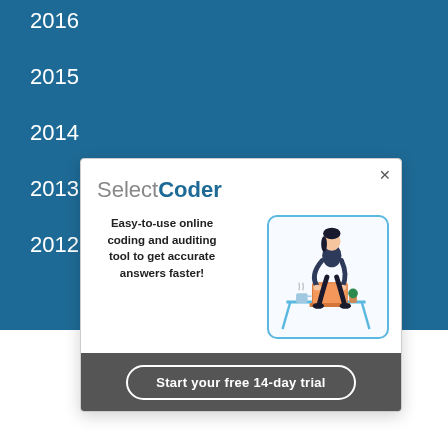2016
2015
2014
2013
2012
[Figure (illustration): SelectCoder advertisement modal with logo, tagline text 'Easy-to-use online coding and auditing tool to get accurate answers faster!', illustration of a woman working at a laptop, and a call-to-action button 'Start your free 14-day trial']